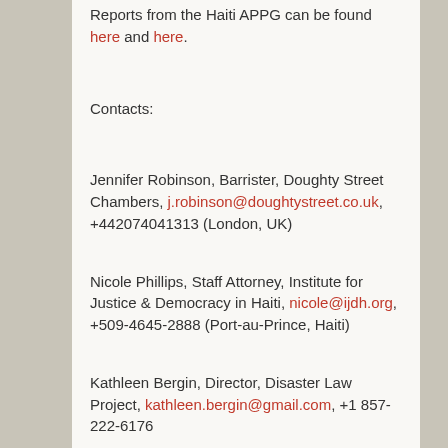Reports from the Haiti APPG can be found here and here.
Contacts:
Jennifer Robinson, Barrister, Doughty Street Chambers, j.robinson@doughtystreet.co.uk, +442074041313 (London, UK)
Nicole Phillips, Staff Attorney, Institute for Justice & Democracy in Haiti, nicole@ijdh.org, +509-4645-2888 (Port-au-Prince, Haiti)
Kathleen Bergin, Director, Disaster Law Project, kathleen.bergin@gmail.com, +1 857-222-6176